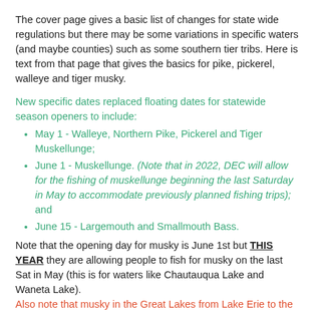The cover page gives a basic list of changes for state wide regulations but there may be some variations in specific waters (and maybe counties) such as some southern tier tribs. Here is text from that page that gives the basics for pike, pickerel, walleye and tiger musky.
New specific dates replaced floating dates for statewide season openers to include:
May 1 - Walleye, Northern Pike, Pickerel and Tiger Muskellunge;
June 1 - Muskellunge. (Note that in 2022, DEC will allow for the fishing of muskellunge beginning the last Saturday in May to accommodate previously planned fishing trips); and
June 15 - Largemouth and Smallmouth Bass.
Note that the opening day for musky is June 1st but THIS YEAR they are allowing people to fish for musky on the last Sat in May (this is for waters like Chautauqua Lake and Waneta Lake). Also note that musky in the Great Lakes from Lake Erie to the St. Lawrence River does not open until June 15th which is 3 days earlier than the third Sat (which it used to be).
Edited May 8 by muskiedreams